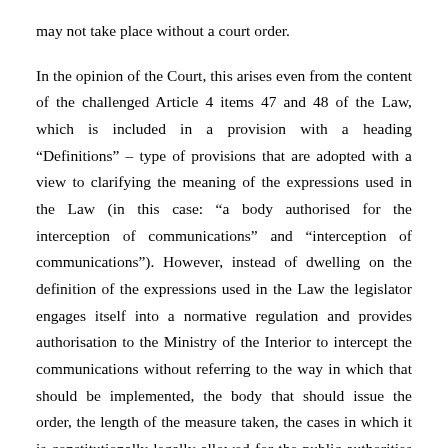may not take place without a court order.
In the opinion of the Court, this arises even from the content of the challenged Article 4 items 47 and 48 of the Law, which is included in a provision with a heading “Definitions” – type of provisions that are adopted with a view to clarifying the meaning of the expressions used in the Law (in this case: “a body authorised for the interception of communications” and “interception of communications”). However, instead of dwelling on the definition of the expressions used in the Law the legislator engages itself into a normative regulation and provides authorisation to the Ministry of the Interior to intercept the communications without referring to the way in which that should be implemented, the body that should issue the order, the length of the measure taken, the cases in which it is constitutionally-legally allowed for the public authorities to interfere into the sphere of privacy of the citizens and to make